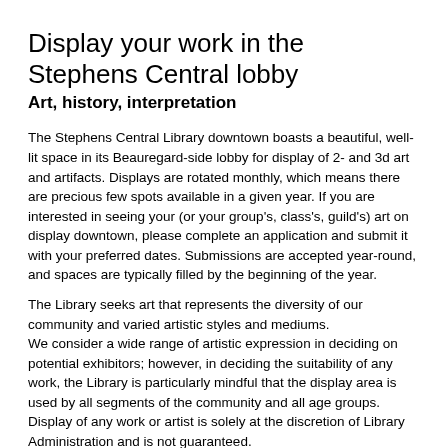Display your work in the Stephens Central lobby
Art, history, interpretation
The Stephens Central Library downtown boasts a beautiful, well-lit space in its Beauregard-side lobby for display of 2- and 3d art and artifacts. Displays are rotated monthly, which means there are precious few spots available in a given year. If you are interested in seeing your (or your group's, class's, guild's) art on display downtown, please complete an application and submit it with your preferred dates. Submissions are accepted year-round, and spaces are typically filled by the beginning of the year.
The Library seeks art that represents the diversity of our community and varied artistic styles and mediums. We consider a wide range of artistic expression in deciding on potential exhibitors; however, in deciding the suitability of any work, the Library is particularly mindful that the display area is used by all segments of the community and all age groups. Display of any work or artist is solely at the discretion of Library Administration and is not guaranteed.